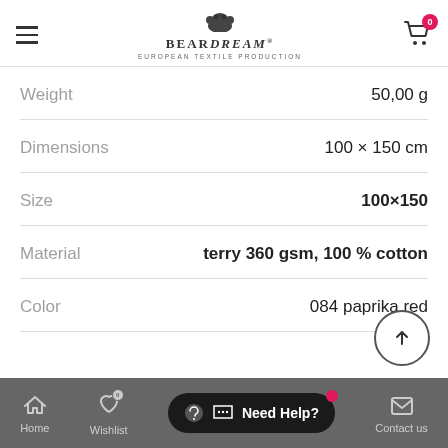BearDream - European Textile Production
| Attribute | Value |
| --- | --- |
| Weight | 50,00 g |
| Dimensions | 100 × 150 cm |
| Size | 100×150 |
| Material | terry 360 gsm, 100 % cotton |
| Color | 084 paprika red |
Home | Wishlist | Contact us | Need Help?